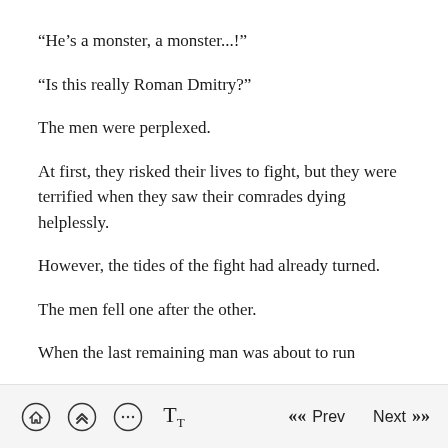“He’s a monster, a monster...!”
“Is this really Roman Dmitry?”
The men were perplexed.
At first, they risked their lives to fight, but they were terrified when they saw their comrades dying helplessly.
However, the tides of the fight had already turned.
The men fell one after the other.
When the last remaining man was about to run
Home | Up | Chat | Font   Prev  Next